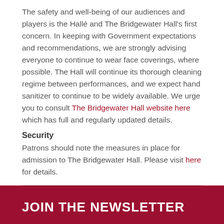The safety and well-being of our audiences and players is the Hallé and The Bridgewater Hall's first concern. In keeping with Government expectations and recommendations, we are strongly advising everyone to continue to wear face coverings, where possible. The Hall will continue its thorough cleaning regime between performances, and we expect hand sanitizer to continue to be widely available. We urge you to consult The Bridgewater Hall website here which has full and regularly updated details.
Security
Patrons should note the measures in place for admission to The Bridgewater Hall. Please visit here for details.
JOIN THE NEWSLETTER
First Name